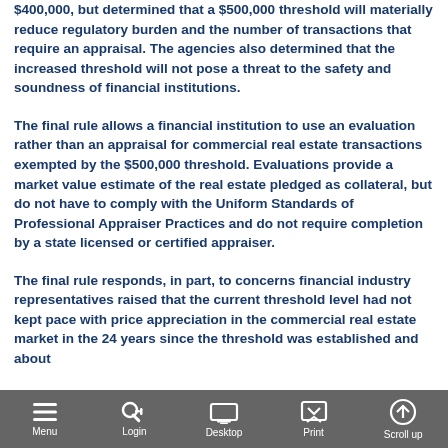$400,000, but determined that a $500,000 threshold will materially reduce regulatory burden and the number of transactions that require an appraisal. The agencies also determined that the increased threshold will not pose a threat to the safety and soundness of financial institutions.
The final rule allows a financial institution to use an evaluation rather than an appraisal for commercial real estate transactions exempted by the $500,000 threshold. Evaluations provide a market value estimate of the real estate pledged as collateral, but do not have to comply with the Uniform Standards of Professional Appraiser Practices and do not require completion by a state licensed or certified appraiser.
The final rule responds, in part, to concerns financial industry representatives raised that the current threshold level had not kept pace with price appreciation in the commercial real estate market in the 24 years since the threshold was established and about